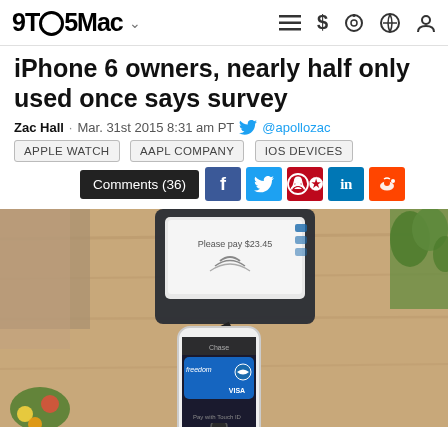9TO5Mac
iPhone 6 owners, nearly half only used once says survey
Zac Hall · Mar. 31st 2015 8:31 am PT @apollozac
APPLE WATCH
AAPL COMPANY
IOS DEVICES
Comments (36)
[Figure (photo): Person holding an iPhone 6 running Apple Pay near a payment terminal. The phone displays a Chase Freedom Visa card in the Wallet app with 'Pay with Touch ID' prompt. A payment terminal is visible in the background on a wooden surface with flowers nearby.]